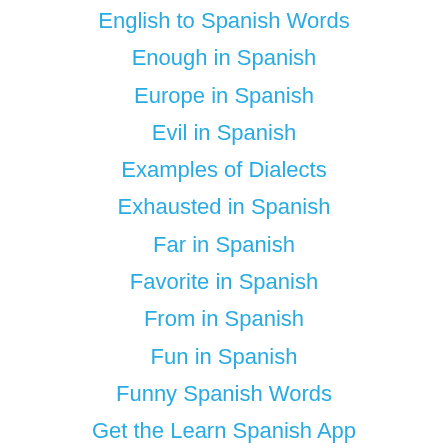English to Spanish Words
Enough in Spanish
Europe in Spanish
Evil in Spanish
Examples of Dialects
Exhausted in Spanish
Far in Spanish
Favorite in Spanish
From in Spanish
Fun in Spanish
Funny Spanish Words
Get the Learn Spanish App
Good Afternoon in Spanish
Got in Spanish